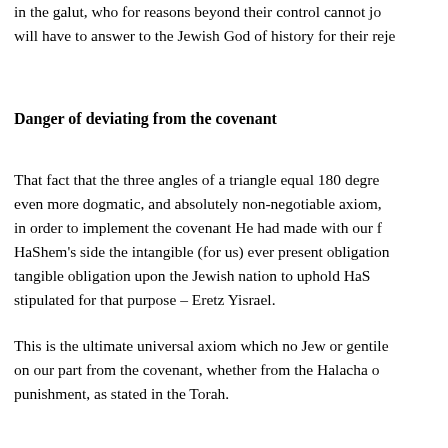in the galut, who for reasons beyond their control cannot jo will have to answer to the Jewish God of history for their reje
Danger of deviating from the covenant
That fact that the three angles of a triangle equal 180 degre even more dogmatic, and absolutely non-negotiable axiom, in order to implement the covenant He had made with our f HaShem's side the intangible (for us) ever present obligation tangible obligation upon the Jewish nation to uphold HaS stipulated for that purpose – Eretz Yisrael.
This is the ultimate universal axiom which no Jew or gentile on our part from the covenant, whether from the Halacha o punishment, as stated in the Torah.